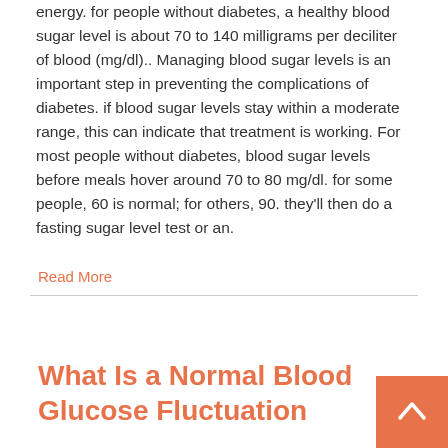energy. for people without diabetes, a healthy blood sugar level is about 70 to 140 milligrams per deciliter of blood (mg/dl).. Managing blood sugar levels is an important step in preventing the complications of diabetes. if blood sugar levels stay within a moderate range, this can indicate that treatment is working. For most people without diabetes, blood sugar levels before meals hover around 70 to 80 mg/dl. for some people, 60 is normal; for others, 90. they'll then do a fasting sugar level test or an.
Read More
What Is a Normal Blood Glucose Fluctuation